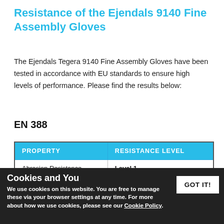Resistance of the Ejendals 9140 Fine Assembly Gloves
The Ejendals Tegera 9140 Fine Assembly Gloves have been tested in accordance with EU standards to ensure high levels of performance. Please find the results below:
EN 388
| PROPERTY | RESISTANCE LEVEL |
| --- | --- |
| Abrasion Resistance | Level 1 |
| Tear Resistance | Level 3 |
Cookies and You
We use cookies on this website. You are free to manage these via your browser settings at any time. For more about how we use cookies, please see our Cookie Policy.